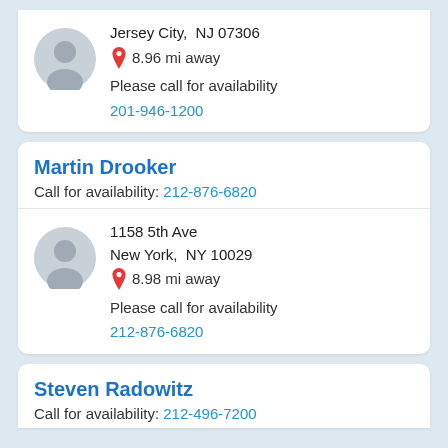Jersey City, NJ 07306
8.96 mi away
Please call for availability
201-946-1200
Martin Drooker
Call for availability: 212-876-6820
1158 5th Ave
New York, NY 10029
8.98 mi away
Please call for availability
212-876-6820
Steven Radowitz
Call for availability: 212-496-7200